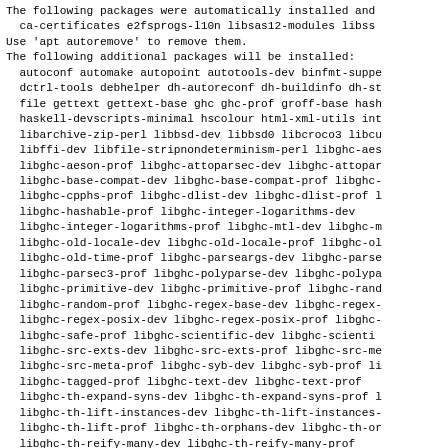The following packages were automatically installed and
  ca-certificates e2fsprogs-l10n libsas12-modules libss
Use 'apt autoremove' to remove them.
The following additional packages will be installed:
  autoconf automake autopoint autotools-dev binfmt-suppe
  dctrl-tools debhelper dh-autoreconf dh-buildinfo dh-st
  file gettext gettext-base ghc ghc-prof groff-base hash
  haskell-devscripts-minimal hscolour html-xml-utils int
  libarchive-zip-perl libbsd-dev libbsd0 libcroco3 libcu
  libffi-dev libfile-stripnondeterminism-perl libghc-aes
  libghc-aeson-prof libghc-attoparsec-dev libghc-attopar
  libghc-base-compat-dev libghc-base-compat-prof libghc-
  libghc-cpphs-prof libghc-dlist-dev libghc-dlist-prof l
  libghc-hashable-prof libghc-integer-logarithms-dev
  libghc-integer-logarithms-prof libghc-mtl-dev libghc-m
  libghc-old-locale-dev libghc-old-locale-prof libghc-ol
  libghc-old-time-prof libghc-parseargs-dev libghc-parse
  libghc-parsec3-prof libghc-polyparse-dev libghc-polypa
  libghc-primitive-dev libghc-primitive-prof libghc-rand
  libghc-random-prof libghc-regex-base-dev libghc-regex-
  libghc-regex-posix-dev libghc-regex-posix-prof libghc-
  libghc-safe-prof libghc-scientific-dev libghc-scienti
  libghc-src-exts-dev libghc-src-exts-prof libghc-src-me
  libghc-src-meta-prof libghc-syb-dev libghc-syb-prof li
  libghc-tagged-prof libghc-text-dev libghc-text-prof
  libghc-th-expand-syns-dev libghc-th-expand-syns-prof l
  libghc-th-lift-instances-dev libghc-th-lift-instances-
  libghc-th-lift-prof libghc-th-orphans-dev libghc-th-or
  libghc-th-reify-many-dev libghc-th-reify-many-prof
  libghc-time-locale-compat-dev libghc-time-locale-compa
  libghc-transformers-compat-dev libghc-transformers-